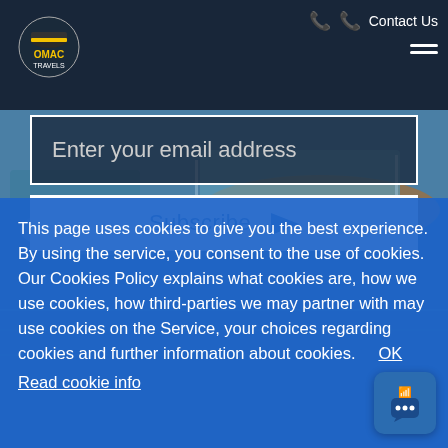Contact Us
[Figure (screenshot): Background photo of boats and pool/marina scene with blue water and lounge chairs]
Enter your email address
Subscribe
This page uses cookies to give you the best experience. By using the service, you consent to the use of cookies. Our Cookies Policy explains what cookies are, how we use cookies, how third-parties we may partner with may use cookies on the Service, your choices regarding cookies and further information about cookies.    OK
Read cookie info